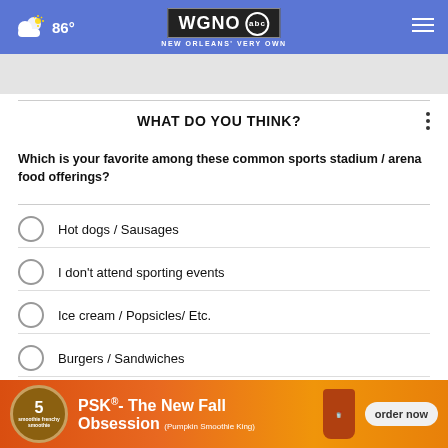86° WGNO ABC New Orleans' Very Own
WHAT DO YOU THINK?
Which is your favorite among these common sports stadium / arena food offerings?
Hot dogs / Sausages
I don't attend sporting events
Ice cream / Popsicles/ Etc.
Burgers / Sandwiches
Popcorn / Cracker Jacks / Peanuts
Nachos
[Figure (infographic): Advertisement banner: PSK- The New Fall Obsession (Pumpkin Smoothie King) with order now button]